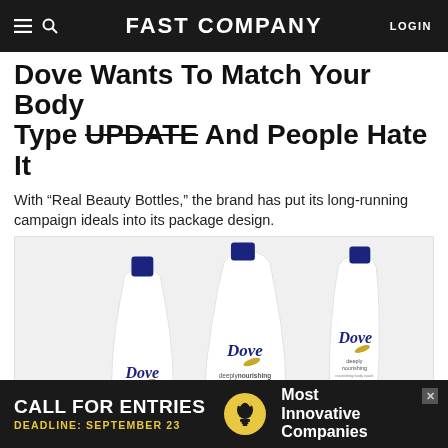FAST COMPANY | LOGIN
Dove Wants To Match Your Body Type UPDATE And People Hate It
With “Real Beauty Bottles,” the brand has put its long-running campaign ideals into its package design.
[Figure (photo): Three Dove deeply nourishing body wash bottles shaped to represent different body types, on a light grey background.]
CALL FOR ENTRIES DEADLINE: SEPTEMBER 23 Most Innovative Companies